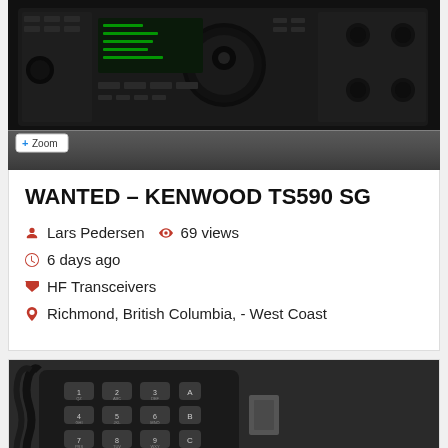[Figure (photo): Kenwood TS590 SG HF transceiver radio, black front panel with knobs and buttons, with a reflection beneath and a Zoom button overlay]
WANTED – KENWOOD TS590 SG
Lars Pedersen  69 views
6 days ago
HF Transceivers
Richmond, British Columbia, - West Coast
[Figure (photo): Close-up of a black radio microphone with keypad buttons showing numbers and letters, with a coiled cord]